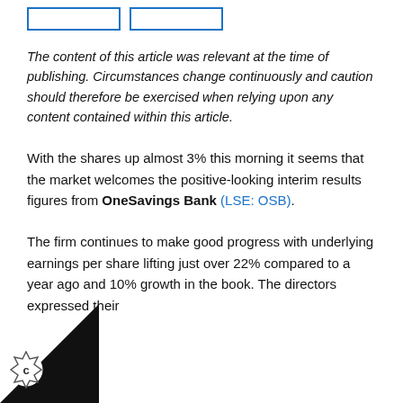[navigation boxes]
The content of this article was relevant at the time of publishing. Circumstances change continuously and caution should therefore be exercised when relying upon any content contained within this article.
With the shares up almost 3% this morning it seems that the market welcomes the positive-looking interim results figures from OneSavings Bank (LSE: OSB).
The firm continues to make good progress with underlying earnings per share lifting just over 22% compared to a year ago and 10% growth in the book. The directors expressed their